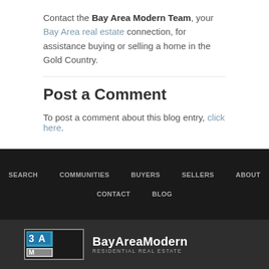Contact the Bay Area Modern Team, your Bay Area real estate connection, for assistance buying or selling a home in the Gold Country.
Post a Comment
To post a comment about this blog entry, click here.
SEARCH   COMMUNITIES   BUYERS   SELLERS   ABOUT   CONTACT   BLOG
[Figure (logo): Bay Area Modern Residential Real Estate logo with BAM icon on dark background]